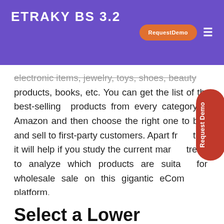ETRAKY BS 3.2
electronic items, jewelry, toys, shoes, beauty products, books, etc. You can get the list of the best-selling products from every category of Amazon and then choose the right one to bulk and sell to first-party customers. Apart from this, it will help if you study the current market trend to analyze which products are suitable for wholesale sale on this gigantic eCommerce platform.
Select a Lower